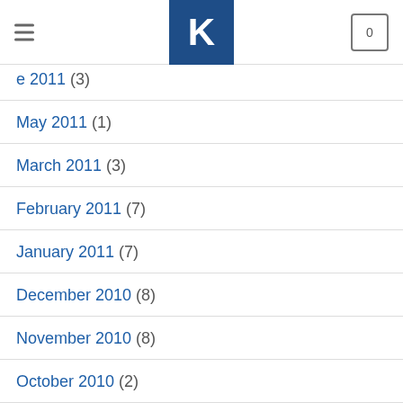K logo, navigation header with cart
e 2011 (3)
May 2011 (1)
March 2011 (3)
February 2011 (7)
January 2011 (7)
December 2010 (8)
November 2010 (8)
October 2010 (2)
September 2010 (2)
August 2010 (7)
July 2010 (8)
June 2010 (?)